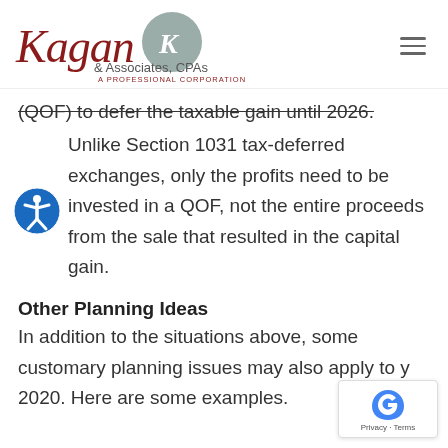Kagan & Associates, CPAs — A Professional Corporation
(QOF) to defer the taxable gain until 2026.
Unlike Section 1031 tax-deferred exchanges, only the profits need to be invested in a QOF, not the entire proceeds from the sale that resulted in the capital gain.
Other Planning Ideas
In addition to the situations above, some customary planning issues may also apply to y 2020. Here are some examples.